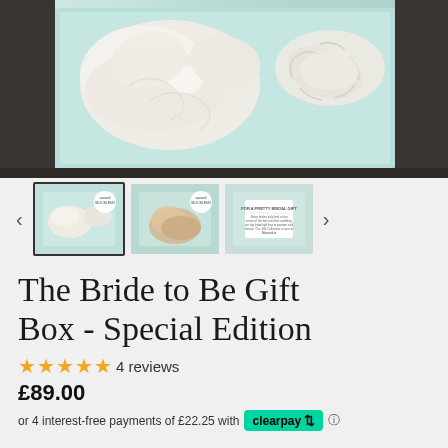[Figure (photo): Main product photo showing a mint/teal gift box containing white/ivory silk items including a bow and a scrunchie, viewed from above on a dark background]
[Figure (photo): Three thumbnail images: first (selected) shows mint box with silk bow and scrunchie from above with badge; second shows similar box with golden silk item; third shows a white card with text inside a mint box]
The Bride to Be Gift Box - Special Edition
★★★★★ 4 reviews
£89.00
or 4 interest-free payments of £22.25 with clearpay ⓘ